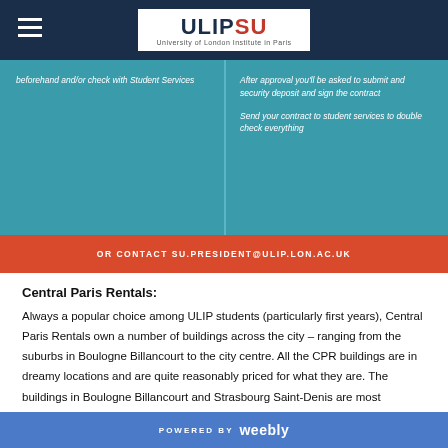ULIPSU - University of London Institute in Paris
beforehand and/or check with Student Services
After approval you'll be asked to submit and security deposit and sign the contract

Send your contract to student services to double check everything
OR CONTACT SU.PRESIDENT@ULIP.LON.AC.UK
Central Paris Rentals:
Always a popular choice among ULIP students (particularly first years), Central Paris Rentals own a number of buildings across the city – ranging from the suburbs in Boulogne Billancourt to the city centre. All the CPR buildings are in dreamy locations and are quite reasonably priced for what they are. The buildings in Boulogne Billancourt and Strasbourg Saint-Denis are most
POWERED BY weebly